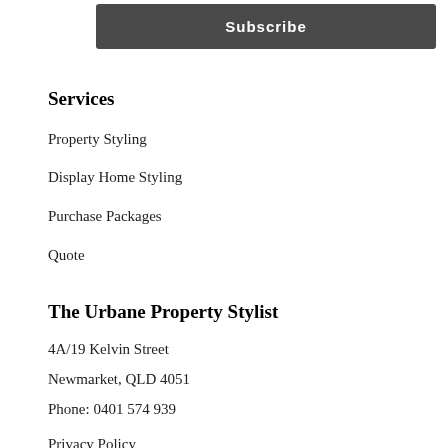Subscribe
Services
Property Styling
Display Home Styling
Purchase Packages
Quote
The Urbane Property Stylist
4A/19 Kelvin Street
Newmarket, QLD 4051
Phone: 0401 574 939
Privacy Policy